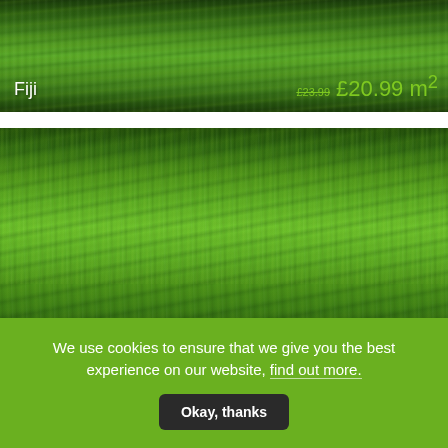[Figure (photo): Close-up photo of Fiji artificial grass product, dark green blades, with product name and pricing overlay]
[Figure (photo): Close-up photo of Ringwood artificial grass product showing thick green blades on dark base, with product name and pricing overlay]
We use cookies to ensure that we give you the best experience on our website, find out more. Okay, thanks